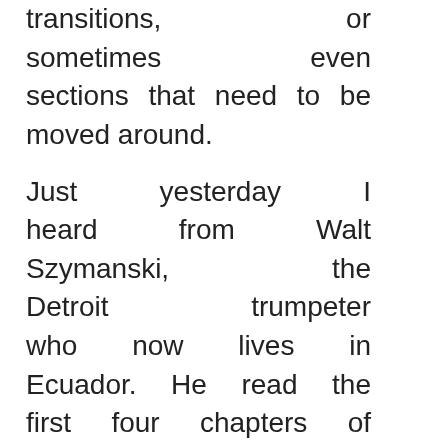transitions, or sometimes even sections that need to be moved around.

Just yesterday I heard from Walt Szymanski, the Detroit trumpeter who now lives in Ecuador. He read the first four chapters of the Adams biography, and is planning to review the entire book in Spanish. He told me how he “devoured” the first half in two days, eagerly reading about many